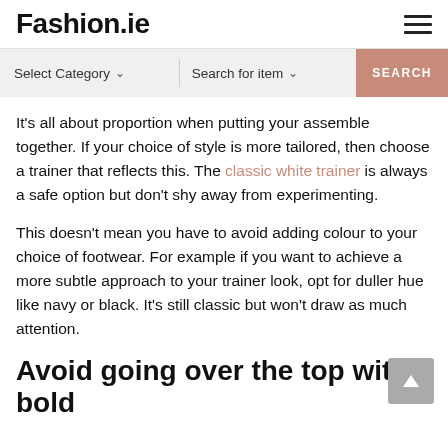Fashion.ie
It's all about proportion when putting your assemble together. If your choice of style is more tailored, then choose a trainer that reflects this. The classic white trainer is always a safe option but don't shy away from experimenting.
This doesn't mean you have to avoid adding colour to your choice of footwear. For example if you want to achieve a more subtle approach to your trainer look, opt for duller hue like navy or black. It's still classic but won't draw as much attention.
Avoid going over the top with bold